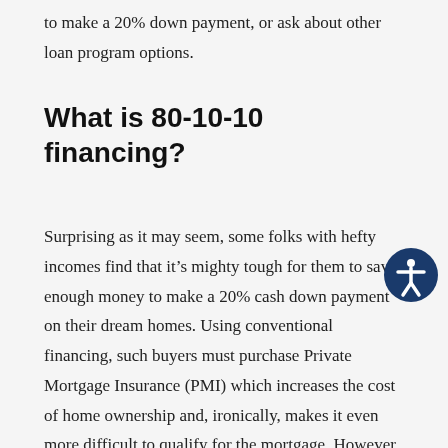to make a 20% down payment, or ask about other loan program options.
What is 80-10-10 financing?
Surprising as it may seem, some folks with hefty incomes find that it’s mighty tough for them to save enough money to make a 20% cash down payment on their dream homes. Using conventional financing, such buyers must purchase Private Mortgage Insurance (PMI) which increases the cost of home ownership and, ironically, makes it even more difficult to qualify for the mortgage. However, if